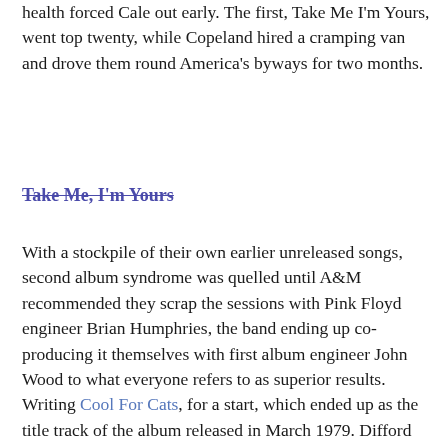health forced Cale out early. The first, Take Me I'm Yours, went top twenty, while Copeland hired a cramping van and drove them round America's byways for two months.
Take Me, I'm Yours
With a stockpile of their own earlier unreleased songs, second album syndrome was quelled until A&M recommended they scrap the sessions with Pink Floyd engineer Brian Humphries, the band ending up co-producing it themselves with first album engineer John Wood to what everyone refers to as superior results. Writing Cool For Cats, for a start, which ended up as the title track of the album released in March 1979. Difford took influence from Ian Dury, Nick Drake and the crew of local ne'er do wells who were hanging around the band at the time, while Tilbrook's musical experimentation was encouraged, early synths dotted about the record. The album is full of band classics - Slap And Tickle, Goodbye Girl, Cool For Cats - inspired by the musical segments of The Benny Hill Show - and Up The Junction, written in New Orleans in the Dylan reportage style. The last two sold a combined million records and the latter two tracks both reached number two as singles, so on with ever lengthening tours they went.